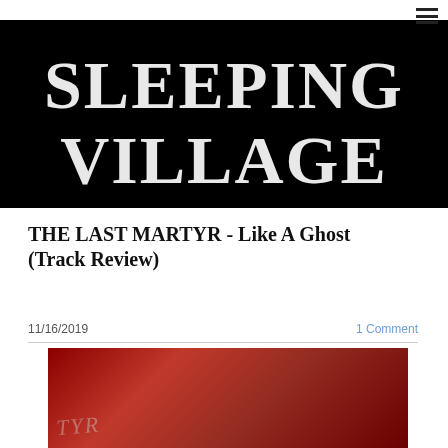☰
[Figure (logo): Sleeping Village logo in decorative blackletter/gothic white text on black background]
THE LAST MARTYR - Like A Ghost (Track Review)
11/16/2019      1 Comment
[Figure (photo): Partial view of red-toned album artwork with partial text TYR visible, dark red background]